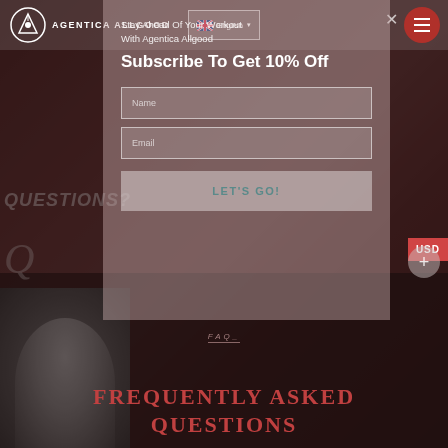AGENTICA ALLGOOD | English
[Figure (screenshot): Website screenshot showing Agentica Allgood fitness brand page with a modal popup for email subscription, FAQ section below, and background of person exercising]
Subscribe To Get 10% Off
Stay Ahead Of Your Workout With Agentica Allgood
Name
Email
LET'S GO!
QUESTIONS?
FAQ_
FREQUENTLY ASKED QUESTIONS